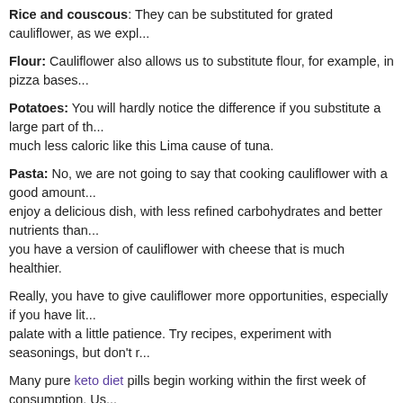Rice and couscous: They can be substituted for grated cauliflower, as we expl...
Flour: Cauliflower also allows us to substitute flour, for example, in pizza bases...
Potatoes: You will hardly notice the difference if you substitute a large part of th... much less caloric like this Lima cause of tuna.
Pasta: No, we are not going to say that cooking cauliflower with a good amount... enjoy a delicious dish, with less refined carbohydrates and better nutrients than... you have a version of cauliflower with cheese that is much healthier.
Really, you have to give cauliflower more opportunities, especially if you have lit... palate with a little patience. Try recipes, experiment with seasonings, but don't r...
Many pure keto diet pills begin working within the first week of consumption. Us... after just a few days of taking these pills. However, to achieve the best results, y... days.
Keto Strong Pills Review
Replies
Keto Strong BHB Shark Tank - Which Indian food is best
by laura nicholas (2021-10-25)
EMAIL REPLY